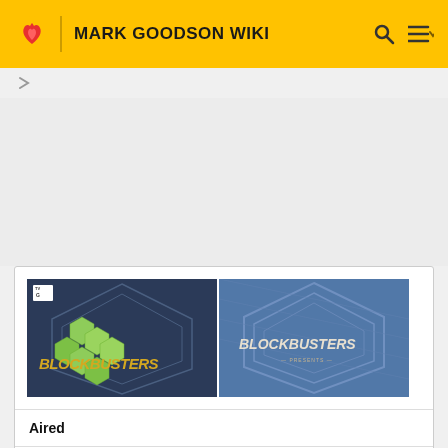MARK GOODSON WIKI
[Figure (screenshot): Two Blockbusters TV show title cards side by side. Left image shows dark blue hexagonal background with green honeycomb hexagons and stylized 'BLOCKBUSTERS' logo with TV-G rating. Right image shows blue hexagonal background with 'BLOCKBUSTERS' logo.]
Aired
NBC Daytime: January 5, 1987 - May 1, 1987